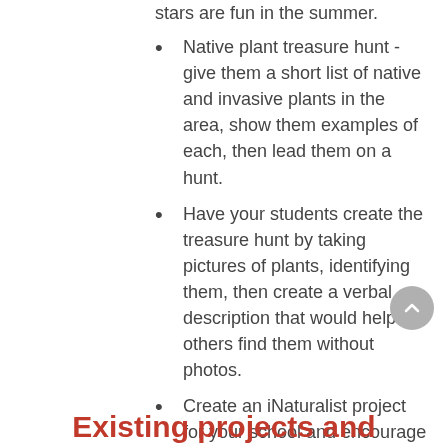stars are fun in the summer.
Native plant treasure hunt - give them a short list of native and invasive plants in the area, show them examples of each, then lead them on a hunt.
Have your students create the treasure hunt by taking pictures of plants, identifying them, then create a verbal description that would help others find them without photos.
Create an iNaturalist project for your school and encourage students to upload photos of plants and wildlife. They can simultaneously learn to identify the life forms and contribute to citizen science - for free. Here's an example!
Existing projects and